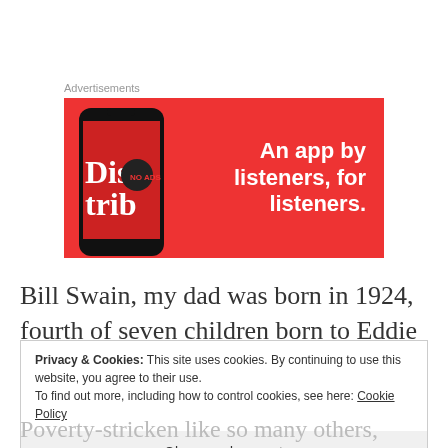Advertisements
[Figure (illustration): Advertisement banner with red background showing a smartphone with 'Distrib' text on screen and bold white text reading 'An app by listeners, for listeners.']
Bill Swain, my dad was born in 1924, fourth of seven children born to Eddie and Mettie Swain.  Eddie's father, Thomas Swain owned a blacksmith and farm
Privacy & Cookies: This site uses cookies. By continuing to use this website, you agree to their use.
To find out more, including how to control cookies, see here: Cookie Policy
Close and accept
Poverty-stricken like so many others, Eddie made